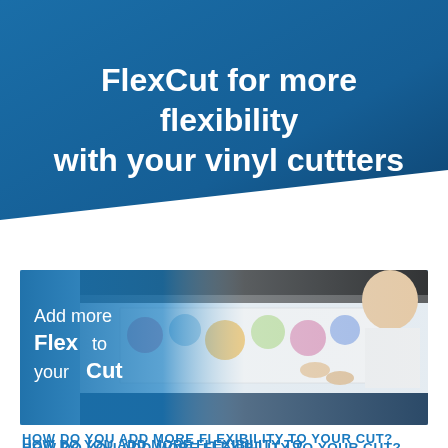FlexCut for more flexibility with your vinyl cuttters
[Figure (photo): Photo of a woman operating a large format vinyl cutter/plotter, removing printed sticker sheets. Overlay text reads: Add more Flex to your Cut. Blue gradient background on left side of image.]
HOW DO YOU ADD MORE FLEXIBILITY TO YOUR CUT?